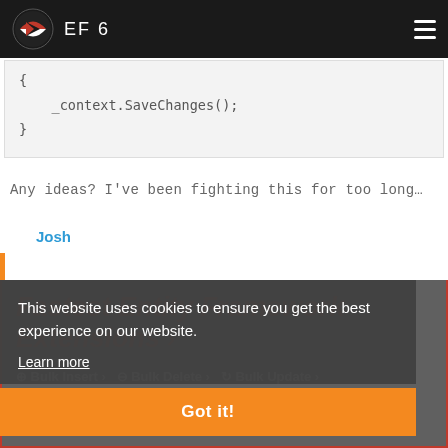EF 6
{
    _context.SaveChanges();
}
Any ideas? I've been fighting this for too long…
Josh
[Figure (screenshot): Fastest Entity Framework Extensions banner with Bulk Insert, Bulk Delete, Bulk Update, Bulk Merge options on dark background]
This website uses cookies to ensure you get the best experience on our website.
Learn more
Got it!